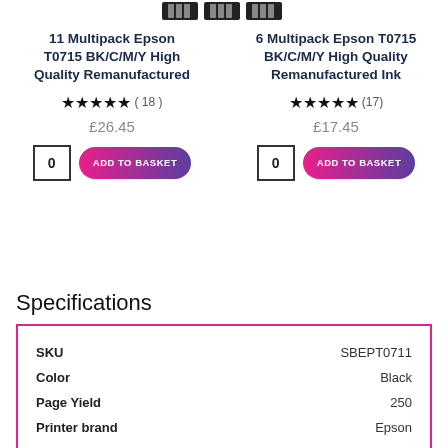[Figure (photo): Product image thumbnails strip at top (ink cartridge multipack images)]
11 Multipack Epson T0715 BK/C/M/Y High Quality Remanufactured
6 Multipack Epson T0715 BK/C/M/Y High Quality Remanufactured Ink
★★★★★ ( 18 )
★★★★★ (17)
£26.45
£17.45
0  ADD TO BASKET
0  ADD TO BASKET
Specifications
|  |  |
| --- | --- |
| SKU | SBEPT0711 |
| Color | Black |
| Page Yield | 250 |
| Printer brand | Epson |